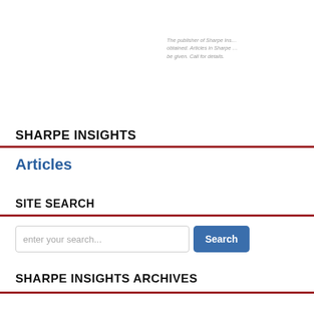The publisher of Sharpe Ins... obtained. Articles in Sharpe ... be given. Call for details.
SHARPE INSIGHTS
Articles
SITE SEARCH
enter your search...
SHARPE INSIGHTS ARCHIVES